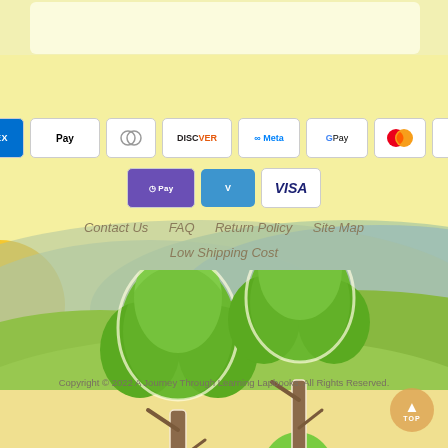[Figure (illustration): Website footer background with yellow sky, rolling green hills, sun rising on left, and two cartoon trees in the foreground]
[Figure (infographic): Payment method icons: American Express, Apple Pay, Diners Club, Discover, Meta, Google Pay, Mastercard, PayPal, Shopify Pay, Venmo, Visa]
Contact Us   FAQ   Return Policy   Site Map   Low Shipping Cost
Copyright © 2022 A Journey Through Learning Lapbooks. All Rights Reserved.